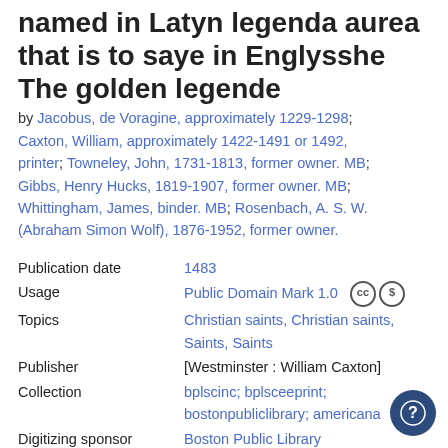named in Latyn legenda aurea that is to saye in Englysshe The golden legende
by Jacobus, de Voragine, approximately 1229-1298; Caxton, William, approximately 1422-1491 or 1492, printer; Towneley, John, 1731-1813, former owner. MB; Gibbs, Henry Hucks, 1819-1907, former owner. MB; Whittingham, James, binder. MB; Rosenbach, A. S. W. (Abraham Simon Wolf), 1876-1952, former owner.
| Field | Value |
| --- | --- |
| Publication date | 1483 |
| Usage | Public Domain Mark 1.0 |
| Topics | Christian saints, Christian saints, Saints, Saints |
| Publisher | [Westminster : William Caxton] |
| Collection | bplscinc; bplsceeprint; bostonpubliclibrary; americana |
| Digitizing sponsor | Boston Public Library |
| Contributor | Boston Public Library |
| Language | English |